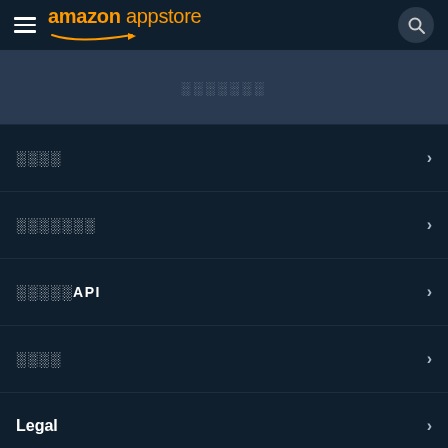[Figure (screenshot): Amazon Appstore navigation header with hamburger menu, logo, and search icon]
░░░░░░░
░░░░ >
░░░░░░░ >
░░░░░API >
░░░░ >
Legal >
Language